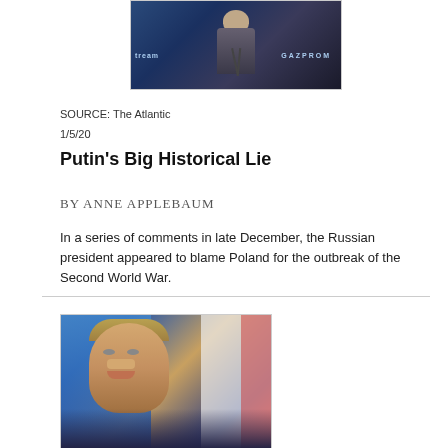[Figure (photo): Person speaking at podium with 'tream' and 'GAZPROM' text visible in background on blue backdrop]
SOURCE: The Atlantic
1/5/20
Putin's Big Historical Lie
BY ANNE APPLEBAUM
In a series of comments in late December, the Russian president appeared to blame Poland for the outbreak of the Second World War.
[Figure (photo): Portrait of Vladimir Putin smiling, wearing a suit, with flags in the background]